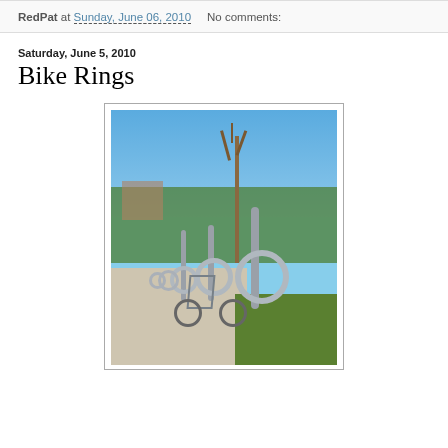RedPat at Sunday, June 06, 2010   No comments:
Saturday, June 5, 2010
Bike Rings
[Figure (photo): A row of silver bike ring parking posts along a sidewalk in an urban park setting. A bicycle is leaned against one of the rings. Trees and greenery are visible in the background with a clear blue sky.]